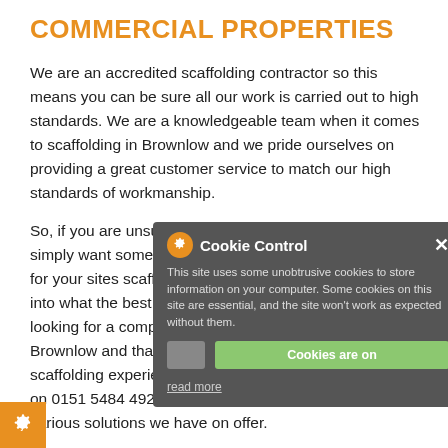COMMERCIAL PROPERTIES
We are an accredited scaffolding contractor so this means you can be sure all our work is carried out to high standards. We are a knowledgeable team when it comes to scaffolding in Brownlow and we pride ourselves on providing a great customer service to match our high standards of workmanship.
So, if you are unsure on any aspect of our work or you simply want some advice on what will be the best solution for your sites scaffold needs we are here to offer insight into what the best option could be for you. So, if you are looking for a company that specialise in scaffolding in Brownlow and that are passionate on providing the best scaffolding experience they can get in touch with us now on 0151 5484 492 and we will gladly talk you through the various solutions we have on offer.
[Figure (screenshot): Cookie Control popup dialog with gear icon, title 'Cookie Control', close button, description text about cookies, 'Cookies are on' green button, grey dismiss button, and 'read more' link]